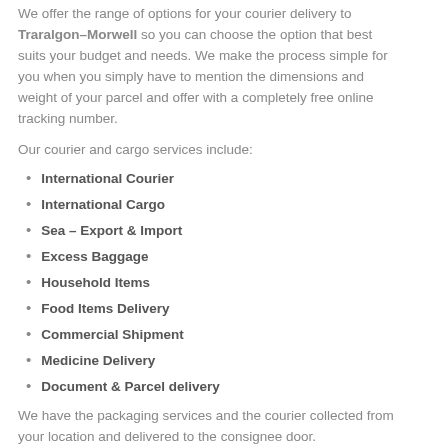We offer the range of options for your courier delivery to Traralgon–Morwell so you can choose the option that best suits your budget and needs. We make the process simple for you when you simply have to mention the dimensions and weight of your parcel and offer with a completely free online tracking number.
Our courier and cargo services include:
International Courier
International Cargo
Sea – Export & Import
Excess Baggage
Household Items
Food Items Delivery
Commercial Shipment
Medicine Delivery
Document & Parcel delivery
We have the packaging services and the courier collected from your location and delivered to the consignee door.
So contact us NOW and take advantage of our discounted rates and excellent service
Parcel From China, From International Door...